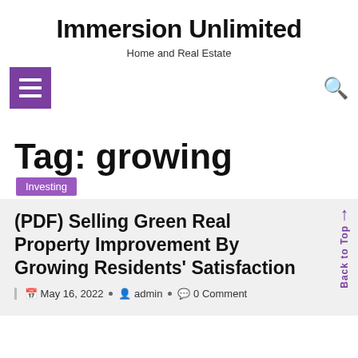Immersion Unlimited
Home and Real Estate
Tag: growing
Investing
(PDF) Selling Green Real Property Improvement By Growing Residents' Satisfaction
Back to Top ↑
May 16, 2022 • admin • 0 Comment